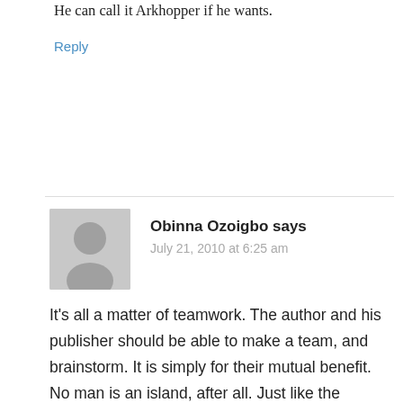He can call it Arkhopper if he wants.
Reply
Obinna Ozoigbo says
July 21, 2010 at 6:25 am
It's all a matter of teamwork. The author and his publisher should be able to make a team, and brainstorm. It is simply for their mutual benefit. No man is an island, after all. Just like the marriage relationship, the two parties must always agree in a most amicable way, otherwise the success of the book in question would be submerged in doubt. When two elephents fight, the grass suffers.